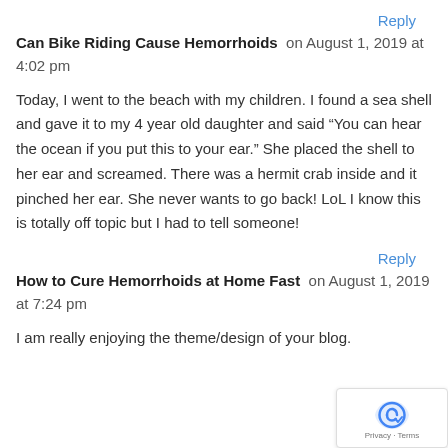Reply
Can Bike Riding Cause Hemorrhoids on August 1, 2019 at 4:02 pm
Today, I went to the beach with my children. I found a sea shell and gave it to my 4 year old daughter and said "You can hear the ocean if you put this to your ear." She placed the shell to her ear and screamed. There was a hermit crab inside and it pinched her ear. She never wants to go back! LoL I know this is totally off topic but I had to tell someone!
Reply
How to Cure Hemorrhoids at Home Fast on August 1, 2019 at 7:24 pm
I am really enjoying the theme/design of your blog.